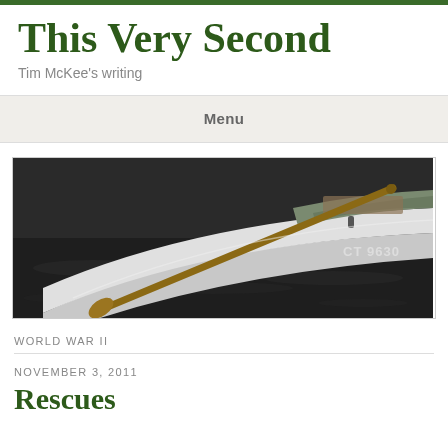This Very Second
Tim McKee's writing
Menu
[Figure (photo): A rowboat with a wooden oar resting over the side, floating on dark water. The registration number CT 9630 is visible on the hull.]
WORLD WAR II
NOVEMBER 3, 2011
Rescues